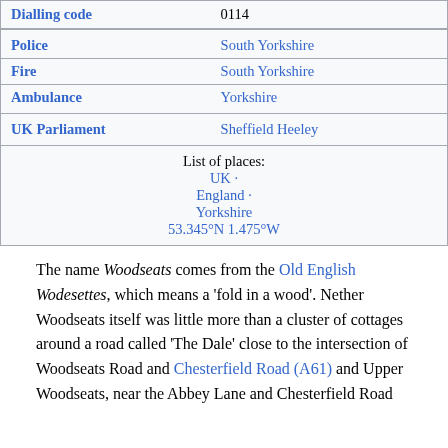| Field | Value |
| --- | --- |
| Dialling code | 0114 |
| Police | South Yorkshire |
| Fire | South Yorkshire |
| Ambulance | Yorkshire |
| UK Parliament | Sheffield Heeley |
| List of places: | UK · England · Yorkshire 53.345°N 1.475°W |
The name Woodseats comes from the Old English Wodesettes, which means a 'fold in a wood'. Nether Woodseats itself was little more than a cluster of cottages around a road called 'The Dale' close to the intersection of Woodseats Road and Chesterfield Road (A61) and Upper Woodseats, near the Abbey Lane and Chesterfield Road